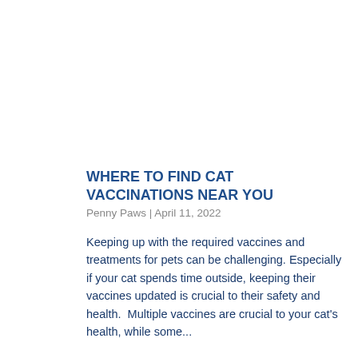WHERE TO FIND CAT VACCINATIONS NEAR YOU
Penny Paws | April 11, 2022
Keeping up with the required vaccines and treatments for pets can be challenging. Especially if your cat spends time outside, keeping their vaccines updated is crucial to their safety and health.  Multiple vaccines are crucial to your cat's health, while some...